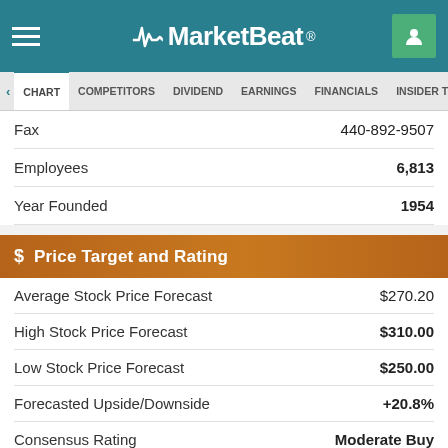MarketBeat
S CHART COMPETITORS DIVIDEND EARNINGS FINANCIALS INSIDER TR
|  |  |
| --- | --- |
| Fax | 440-892-9507 |
| Employees | 6,813 |
| Year Founded | 1954 |
$ Price Target and Rating
|  |  |
| --- | --- |
| Average Stock Price Forecast | $270.20 |
| High Stock Price Forecast | $310.00 |
| Low Stock Price Forecast | $250.00 |
| Forecasted Upside/Downside | +20.8% |
| Consensus Rating | Moderate Buy |
| Rating Score (0-4) | 2.50 |
| Research Coverage | 4 Analysts |
Profitability